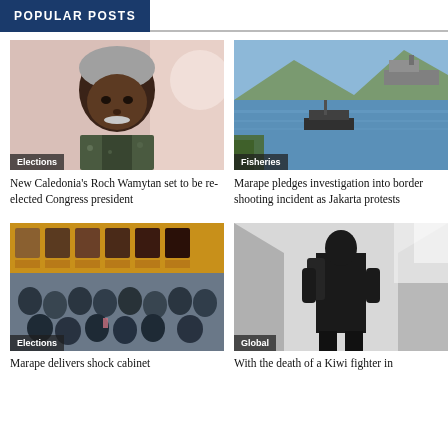POPULAR POSTS
[Figure (photo): Portrait photo of an elderly Pacific Islander man with grey hair and moustache, wearing a patterned shirt. Tag: Elections]
New Caledonia’s Roch Wamytan set to be re-elected Congress president
[Figure (photo): Aerial/elevated view of a harbour with calm blue water, a boat, hills and a large ship in the background. Tag: Fisheries]
Marape pledges investigation into border shooting incident as Jakarta protests
[Figure (photo): Group photo of Pacific Islander men in suits, with a row of individual headshots above. Tag: Elections]
Marape delivers shock cabinet
[Figure (photo): A soldier or armed figure in dark clothing and a backpack standing in a white-walled corridor. Tag: Global]
With the death of a Kiwi fighter in